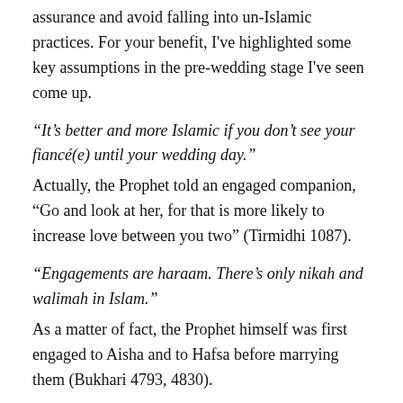assurance and avoid falling into un-Islamic practices. For your benefit, I've highlighted some key assumptions in the pre-wedding stage I've seen come up.
“It’s better and more Islamic if you don’t see your fiancé(e) until your wedding day.”
Actually, the Prophet told an engaged companion, “Go and look at her, for that is more likely to increase love between you two” (Tirmidhi 1087).
“Engagements are haraam. There’s only nikah and walimah in Islam.”
As a matter of fact, the Prophet himself was first engaged to Aisha and to Hafsa before marrying them (Bukhari 4793, 4830).
“It’s...